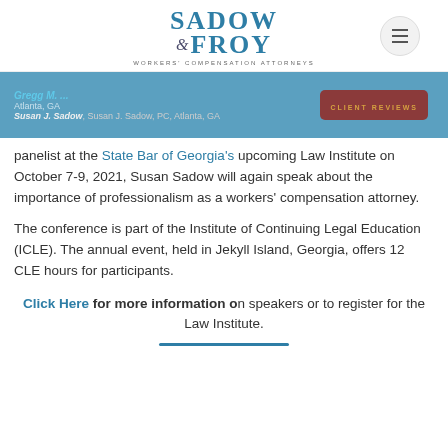[Figure (logo): Sadow & Froy Workers' Compensation Attorneys logo with hamburger menu button]
[Figure (screenshot): Image strip showing client reviews section with Susan J. Sadow, Atlanta GA mention]
panelist at the State Bar of Georgia's upcoming Law Institute on October 7-9, 2021, Susan Sadow will again speak about the importance of professionalism as a workers' compensation attorney.
The conference is part of the Institute of Continuing Legal Education (ICLE). The annual event, held in Jekyll Island, Georgia, offers 12 CLE hours for participants.
Click Here for more information on speakers or to register for the Law Institute.